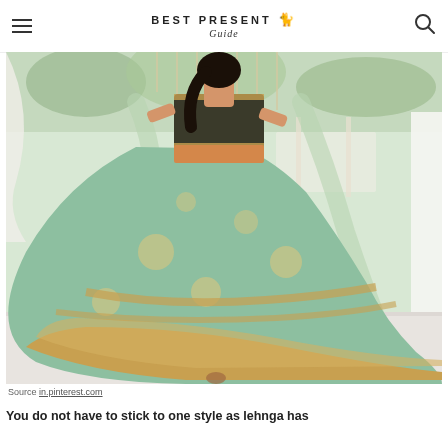BEST PRESENT Guide
[Figure (photo): A woman in a mint green and gold embroidered lehenga choli spinning/twirling in an outdoor garden wedding venue setting. The lehenga has heavy golden embroidery borders and floral embellishments.]
Source in.pinterest.com
You do not have to stick to one style as lehnga has